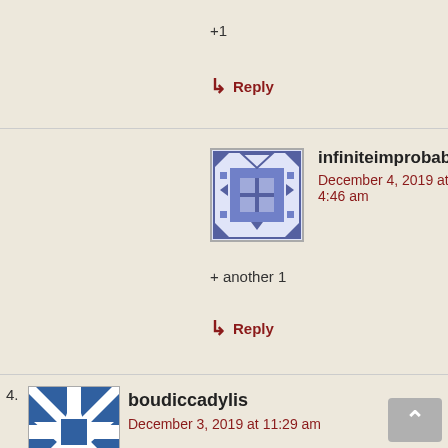+1
↵ Reply
infiniteimprobabilit
December 4, 2019 at 4:46 am
+ another 1
↵ Reply
4. boudiccadylis
December 3, 2019 at 11:29 am
Never was much of a typist.change hey to bet. The rest I thinks ovbious.